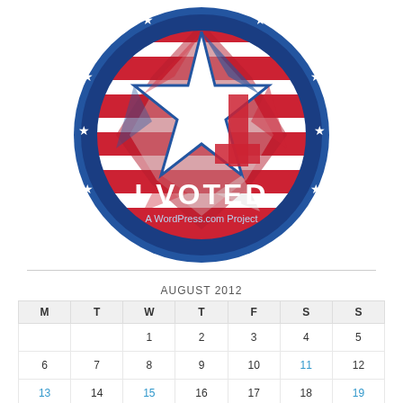[Figure (illustration): I Voted badge/sticker with blue circular design featuring a large white star, American flag stripes in red and white, smaller white stars around the border, text 'I VOTED' in large white letters and 'A WordPress.com Project' below it.]
| M | T | W | T | F | S | S |
| --- | --- | --- | --- | --- | --- | --- |
|  |  | 1 | 2 | 3 | 4 | 5 |
| 6 | 7 | 8 | 9 | 10 | 11 | 12 |
| 13 | 14 | 15 | 16 | 17 | 18 | 19 |
| 20 | 21 | 22 | 23 | 24 | 25 | 26 |